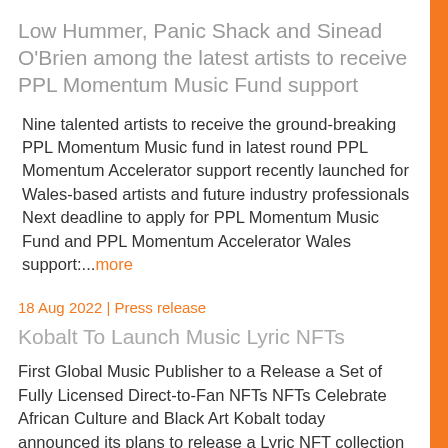Low Hummer, Panic Shack and Sinead O'Brien among the latest artists to receive PPL Momentum Music Fund support
Nine talented artists to receive the ground-breaking PPL Momentum Music fund in latest round PPL Momentum Accelerator support recently launched for Wales-based artists and future industry professionals Next deadline to apply for PPL Momentum Music Fund and PPL Momentum Accelerator Wales support:...more
18 Aug 2022 | Press release
Kobalt To Launch Music Lyric NFTs
First Global Music Publisher to a Release a Set of Fully Licensed Direct-to-Fan NFTs NFTs Celebrate African Culture and Black Art Kobalt today announced its plans to release a Lyric NFT collection called An Electro Revival, becoming the